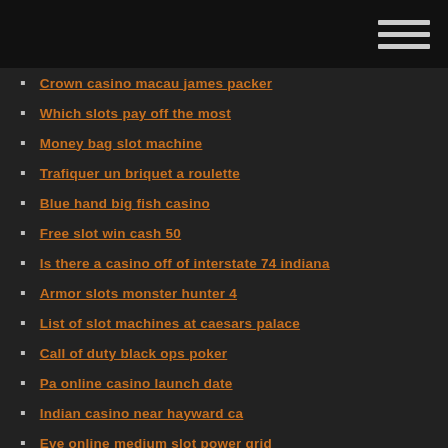Crown casino macau james packer
Which slots pay off the most
Money bag slot machine
Trafiquer un briquet a roulette
Blue hand big fish casino
Free slot win cash 50
Is there a casino off of interstate 74 indiana
Armor slots monster hunter 4
List of slot machines at caesars palace
Call of duty black ops poker
Pa online casino launch date
Indian casino near hayward ca
Eve online medium slot power grid
Bonus shopping slot games free